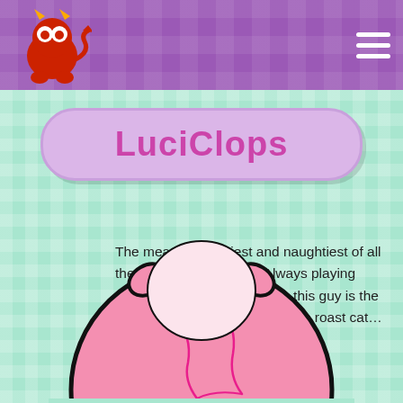LuciClops - iClops website header
LuciClops
The meanest, nastiest and naughtiest of all the iClops is LuciClops. Always playing tricks on his fellow monsters this guy is the very essence of Mischief! Like's roast cat… yeah, he's that mean!
[Figure (illustration): Pink round cartoon monster character (LuciClops) with black outline, pink body, small horns, partial view showing top/body portion of the character]